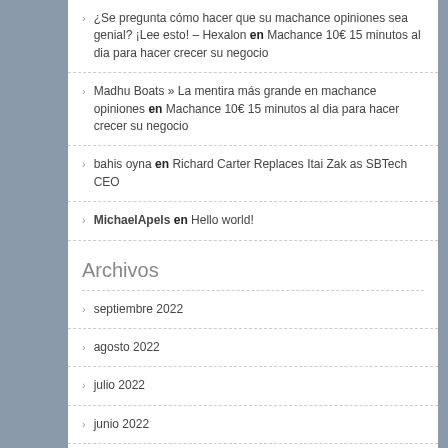¿Se pregunta cómo hacer que su machance opiniones sea genial? ¡Lee esto! – Hexalon en Machance 10€ 15 minutos al dia para hacer crecer su negocio
Madhu Boats » La mentira más grande en machance opiniones en Machance 10€ 15 minutos al dia para hacer crecer su negocio
bahis oyna en Richard Carter Replaces Itai Zak as SBTech CEO
MichaelApels en Hello world!
Archivos
septiembre 2022
agosto 2022
julio 2022
junio 2022
febrero 2022